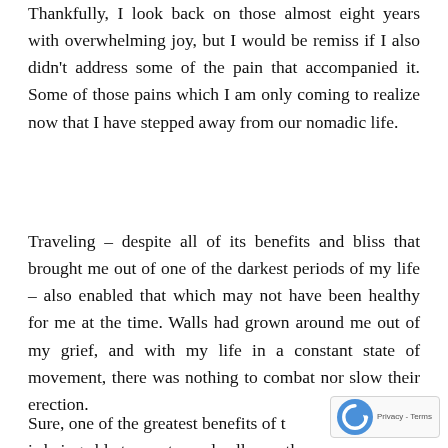Thankfully, I look back on those almost eight years with overwhelming joy, but I would be remiss if I also didn't address some of the pain that accompanied it. Some of those pains which I am only coming to realize now that I have stepped away from our nomadic life.
Traveling – despite all of its benefits and bliss that brought me out of one of the darkest periods of my life – also enabled that which may not have been healthy for me at the time. Walls had grown around me out of my grief, and with my life in a constant state of movement, there was nothing to combat nor slow their erection.
Sure, one of the greatest benefits of t... is being able to meet people all over the